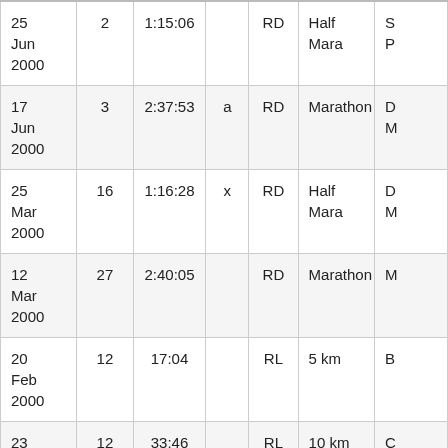| Date | Pos | Time | Flag | Type | Distance | Race |
| --- | --- | --- | --- | --- | --- | --- |
| 25 Jun 2000 | 2 | 1:15:06 |  | RD | Half Mara | S... P... |
| 17 Jun 2000 | 3 | 2:37:53 | a | RD | Marathon | D... M... |
| 25 Mar 2000 | 16 | 1:16:28 | x | RD | Half Mara | D... M... |
| 12 Mar 2000 | 27 | 2:40:05 |  | RD | Marathon | M... |
| 20 Feb 2000 | 12 | 17:04 |  | RL | 5 km | B... |
| 23 Nov 1999 | 12 | 33:46 |  | RL | 10 km | C... |